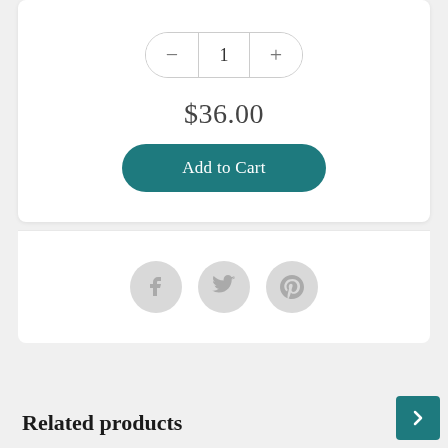[Figure (screenshot): Product quantity selector with minus and plus buttons around the number 1, styled as a pill-shaped control]
$36.00
Add to Cart
[Figure (other): Three circular social share icons: Facebook, Twitter, Pinterest]
Related products